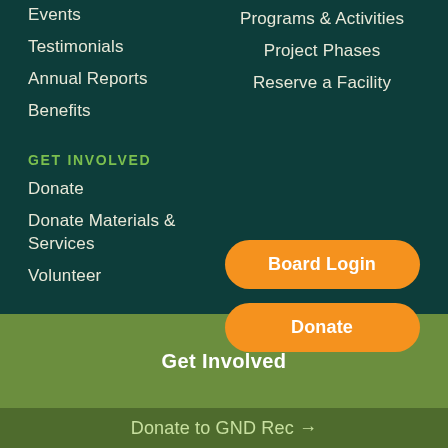Events
Programs & Activities
Testimonials
Project Phases
Annual Reports
Reserve a Facility
Benefits
GET INVOLVED
Donate
Donate Materials & Services
Volunteer
Board Login
Donate
Get Involved
Donate to GND Rec →